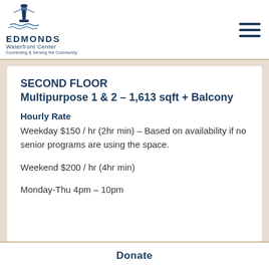Edmonds Waterfront Center — Connecting & Serving the Community
SECOND FLOOR Multipurpose 1 & 2 – 1,613 sqft + Balcony
Hourly Rate
Weekday $150 / hr (2hr min) – Based on availability if no senior programs are using the space.
Weekend $200 / hr (4hr min)
Monday-Thu 4pm – 10pm
Donate